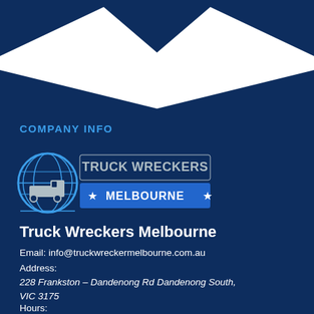[Figure (illustration): White angular chevron/mountain shape decorative background at the top of the page on dark navy background]
COMPANY INFO
[Figure (logo): Truck Wreckers Melbourne logo: globe with truck icon on the left, text TRUCK WRECKERS above a blue bar with stars reading MELBOURNE]
Truck Wreckers Melbourne
Email: info@truckwreckermelbourne.com.au
Address:
228 Frankston - Dandenong Rd Dandenong South, VIC 3175
Hours:
Monday, Tuesday, Wednesday, Thursday, Friday, Saturday08:00 – 18:00